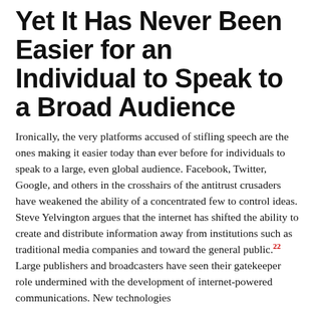Yet It Has Never Been Easier for an Individual to Speak to a Broad Audience
Ironically, the very platforms accused of stifling speech are the ones making it easier today than ever before for individuals to speak to a large, even global audience. Facebook, Twitter, Google, and others in the crosshairs of the antitrust crusaders have weakened the ability of a concentrated few to control ideas. Steve Yelvington argues that the internet has shifted the ability to create and distribute information away from institutions such as traditional media companies and toward the general public.22 Large publishers and broadcasters have seen their gatekeeper role undermined with the development of internet-powered communications. New technologies